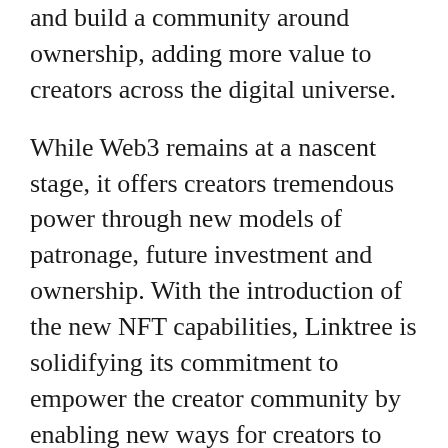and build a community around ownership, adding more value to creators across the digital universe.
While Web3 remains at a nascent stage, it offers creators tremendous power through new models of patronage, future investment and ownership. With the introduction of the new NFT capabilities, Linktree is solidifying its commitment to empower the creator community by enabling new ways for creators to monetise their craft and curate a digital identity.
These features mark the first steps in a key partnership between Linktree and OpenSea, the world's largest NFT marketplace. Following Linktree's new $110M USD raise, the the